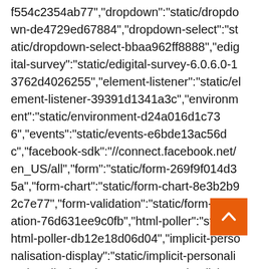f554c2354ab77","dropdown":"static/dropdown-de4729ed67884","dropdown-select":"static/dropdown-select-bbaa962ff8888","edigital-survey":"static/edigital-survey-6.0.6.0-13762d4026255","element-listener":"static/element-listener-39391d1341a3c","environment":"static/environment-d24a016d1c736","events":"static/events-e6bde13ac56dc","facebook-sdk":"//connect.facebook.net/en_US/all","form":"static/form-269f9f014d35a","form-chart":"static/form-chart-8e3b2b92c7e77","form-validation":"static/form-validation-76d631ee9c0fb","html-poller":"static/html-poller-db12e18d06d04","implicit-personalisation-display":"static/implicit-personalisation-display-2bc93246729e4","implicit-personalisation-storage":"static/implicit-personalisation-storage-a4eb341b47077","implicit-personalisation-
[Figure (other): Orange scroll-to-top button with a white upward chevron arrow, positioned at lower right of page]